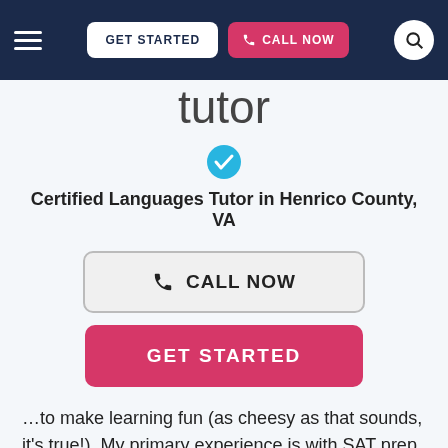GET STARTED | CALL NOW
tutor
Certified Languages Tutor in Henrico County, VA
CALL NOW
GET STARTED
…to make learning fun (as cheesy as that sounds, it's true!). My primary experience is with SAT prep, as one of my summer internships in college was to start an SAT tutoring company in my hometown of Folsom, PA. My tutoring is not the...